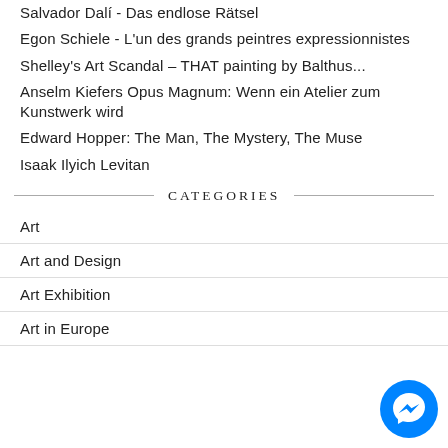Salvador Dalí - Das endlose Rätsel
Egon Schiele - L'un des grands peintres expressionnistes
Shelley's Art Scandal – THAT painting by Balthus...
Anselm Kiefers Opus Magnum: Wenn ein Atelier zum Kunstwerk wird
Edward Hopper: The Man, The Mystery, The Muse
Isaak Ilyich Levitan
CATEGORIES
Art
Art and Design
Art Exhibition
Art in Europe
[Figure (illustration): Blue circular Messenger chat button icon in bottom right corner]